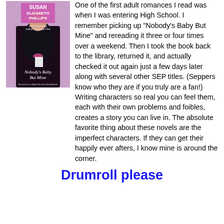[Figure (illustration): Book cover of 'Nobody's Baby But Mine' by Susan Elizabeth Phillips, showing a woman in black dress with pink ribbon, purple/pink background]
One of the first adult romances I read was when I was entering High School. I remember picking up "Nobody's Baby But Mine" and rereading it three or four times over a weekend. Then I took the book back to the library, returned it, and actually checked it out again just a few days later along with several other SEP titles. (Seppers know who they are if you truly are a fan!) Writing characters so real you can feel them, each with their own problems and foibles, creates a story you can live in. The absolute favorite thing about these novels are the imperfect characters. If they can get their happily ever afters, I know mine is around the corner.
Drumroll please